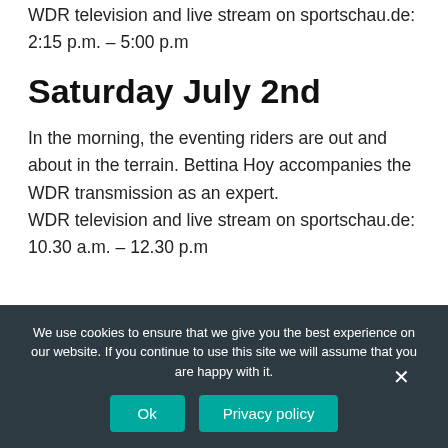WDR television and live stream on sportschau.de: 2:15 p.m. – 5:00 p.m
Saturday July 2nd
In the morning, the eventing riders are out and about in the terrain. Bettina Hoy accompanies the WDR transmission as an expert.
WDR television and live stream on sportschau.de: 10.30 a.m. – 12.30 p.m
We use cookies to ensure that we give you the best experience on our website. If you continue to use this site we will assume that you are happy with it.